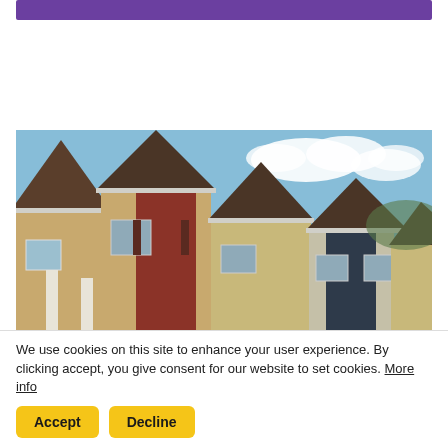[Figure (photo): Purple banner/header bar at top of page]
[Figure (photo): Photograph of a row of suburban townhomes/houses with peaked roofs, brown shingles, tan and dark blue siding, under a partly cloudy blue sky]
We use cookies on this site to enhance your user experience. By clicking accept, you give consent for our website to set cookies. More info
Accept
Decline